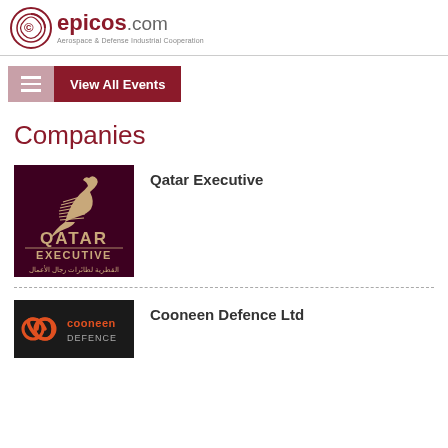[Figure (logo): epicos.com logo with circular swirl icon and tagline Aerospace & Defense Industrial Cooperation]
[Figure (logo): View All Events navigation button with hamburger menu icon on dark red background]
Companies
[Figure (logo): Qatar Executive company logo on dark maroon background with oryx bird and Arabic text]
Qatar Executive
[Figure (logo): Cooneen Defence Ltd logo on black background with orange infinity symbol]
Cooneen Defence Ltd